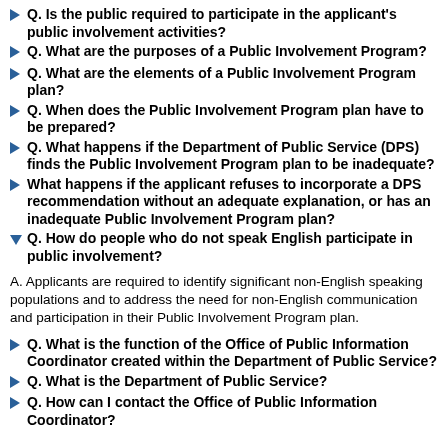Q. Is the public required to participate in the applicant's public involvement activities?
Q. What are the purposes of a Public Involvement Program?
Q. What are the elements of a Public Involvement Program plan?
Q. When does the Public Involvement Program plan have to be prepared?
Q. What happens if the Department of Public Service (DPS) finds the Public Involvement Program plan to be inadequate?
What happens if the applicant refuses to incorporate a DPS recommendation without an adequate explanation, or has an inadequate Public Involvement Program plan?
Q. How do people who do not speak English participate in public involvement?
A. Applicants are required to identify significant non-English speaking populations and to address the need for non-English communication and participation in their Public Involvement Program plan.
Q. What is the function of the Office of Public Information Coordinator created within the Department of Public Service?
Q. What is the Department of Public Service?
Q. How can I contact the Office of Public Information Coordinator?